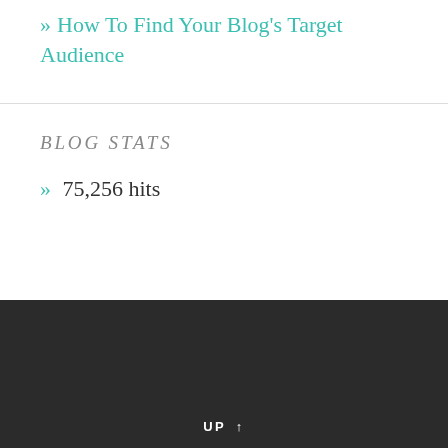» How To Find Your Blog's Target Audience
BLOG STATS
» 75,256 hits
UP ↑